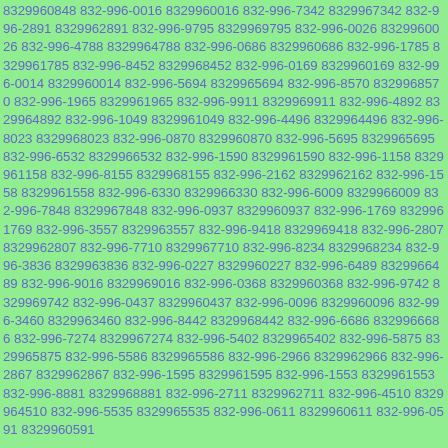8329960848 832-996-0016 8329960016 832-996-7342 8329967342 832-996-2891 8329962891 832-996-9795 8329969795 832-996-0026 8329960026 832-996-4788 8329964788 832-996-0686 8329960686 832-996-1785 8329961785 832-996-8452 8329968452 832-996-0169 8329960169 832-996-0014 8329960014 832-996-5694 8329965694 832-996-8570 8329968570 832-996-1965 8329961965 832-996-9911 8329969911 832-996-4892 8329964892 832-996-1049 8329961049 832-996-4496 8329964496 832-996-8023 8329968023 832-996-0870 8329960870 832-996-5695 8329965695 832-996-6532 8329966532 832-996-1590 8329961590 832-996-1158 8329961158 832-996-8155 8329968155 832-996-2162 8329962162 832-996-1558 8329961558 832-996-6330 8329966330 832-996-6009 8329966009 832-996-7848 8329967848 832-996-0937 8329960937 832-996-1769 8329961769 832-996-3557 8329963557 832-996-9418 8329969418 832-996-2807 8329962807 832-996-7710 8329967710 832-996-8234 8329968234 832-996-3836 8329963836 832-996-0227 8329960227 832-996-6489 8329966489 832-996-9016 8329969016 832-996-0368 8329960368 832-996-9742 8329969742 832-996-0437 8329960437 832-996-0096 8329960096 832-996-3460 8329963460 832-996-8442 8329968442 832-996-6686 8329966686 832-996-7274 8329967274 832-996-5402 8329965402 832-996-5875 8329965875 832-996-5586 8329965586 832-996-2966 8329962966 832-996-2867 8329962867 832-996-1595 8329961595 832-996-1553 8329961553 832-996-8881 8329968881 832-996-2711 8329962711 832-996-4510 8329964510 832-996-5535 8329965535 832-996-0611 8329960611 832-996-0591 8329960591